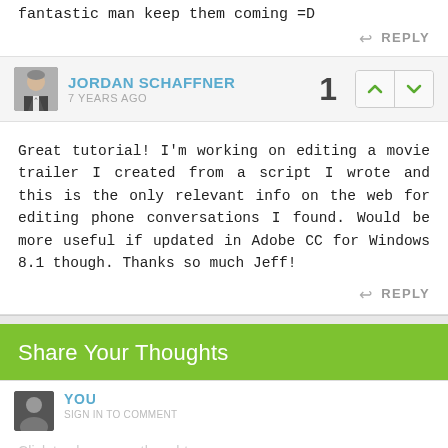fantastic man keep them coming =D
REPLY
JORDAN SCHAFFNER
7 YEARS AGO
Great tutorial! I'm working on editing a movie trailer I created from a script I wrote and this is the only relevant info on the web for editing phone conversations I found. Would be more useful if updated in Adobe CC for Windows 8.1 though. Thanks so much Jeff!
REPLY
Share Your Thoughts
YOU
Click to share your thoughts